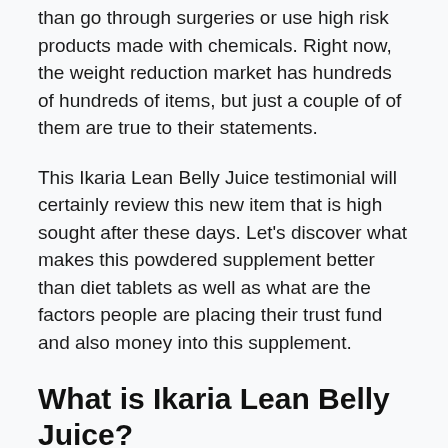than go through surgeries or use high risk products made with chemicals. Right now, the weight reduction market has hundreds of hundreds of items, but just a couple of of them are true to their statements.
This Ikaria Lean Belly Juice testimonial will certainly review this new item that is high sought after these days. Let’s discover what makes this powdered supplement better than diet tablets as well as what are the factors people are placing their trust fund and also money into this supplement.
What is Ikaria Lean Belly Juice?